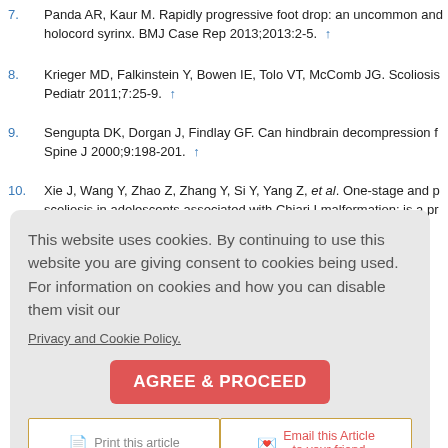7. Panda AR, Kaur M. Rapidly progressive foot drop: an uncommon and holocord syrinx. BMJ Case Rep 2013;2013:2-5. ↑
8. Krieger MD, Falkinstein Y, Bowen IE, Tolo VT, McComb JG. Scoliosis Pediatr 2011;7:25-9. ↑
9. Sengupta DK, Dorgan J, Findlay GF. Can hindbrain decompression f Spine J 2000;9:198-201. ↑
10. Xie J, Wang Y, Zhao Z, Zhang Y, Si Y, Yang Z, et al. One-stage and p scoliosis in adolescents associated with Chiari I malformation: is a pr Spine J 2011;20:1106-13. ↑
Figures
[Figure 1]
This website uses cookies. By continuing to use this website you are giving consent to cookies being used. For information on cookies and how you can disable them visit our
Privacy and Cookie Policy.
AGREE & PROCEED
Print this article
Email this Article to your friend